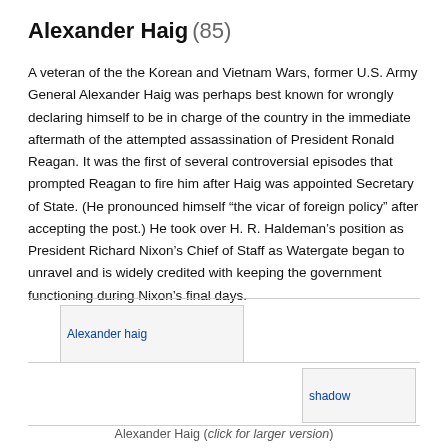Alexander Haig (85)
A veteran of the the Korean and Vietnam Wars, former U.S. Army General Alexander Haig was perhaps best known for wrongly declaring himself to be in charge of the country in the immediate aftermath of the attempted assassination of President Ronald Reagan. It was the first of several controversial episodes that prompted Reagan to fire him after Haig was appointed Secretary of State. (He pronounced himself “the vicar of foreign policy” after accepting the post.) He took over H. R. Haldeman’s position as President Richard Nixon’s Chief of Staff as Watergate began to unravel and is widely credited with keeping the government functioning during Nixon’s final days.
[Figure (photo): Alexander haig image placeholder with link]
[Figure (photo): Shadow image placeholder]
Alexander Haig (click for larger version)